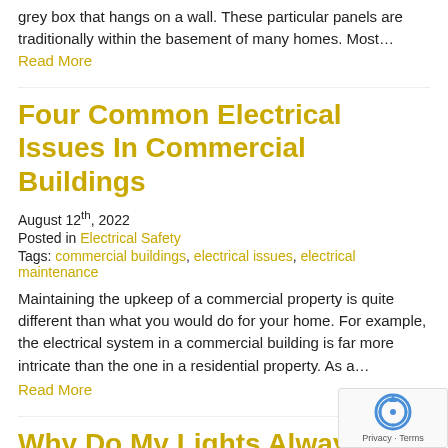grey box that hangs on a wall. These particular panels are traditionally within the basement of many homes. Most…
Read More
Four Common Electrical Issues In Commercial Buildings
August 12th, 2022
Posted in Electrical Safety
Tags: commercial buildings, electrical issues, electrical maintenance
Maintaining the upkeep of a commercial property is quite different than what you would do for your home. For example, the electrical system in a commercial building is far more intricate than the one in a residential property. As a…
Read More
Why Do My Lights Always Flicker? Here Are Three Main…
[Figure (other): reCAPTCHA badge with Privacy and Terms links]